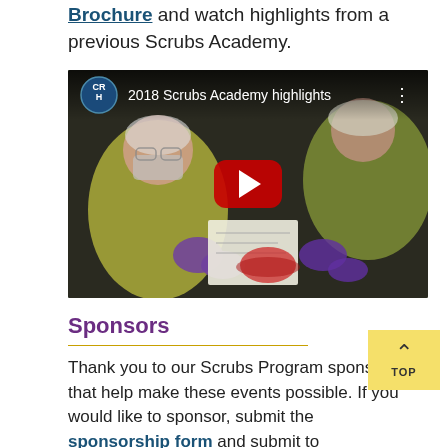Brochure and watch highlights from a previous Scrubs Academy.
[Figure (screenshot): YouTube video thumbnail showing '2018 Scrubs Academy highlights' with people in medical scrubs, gloves, and masks performing a procedure. CRH logo in top left, red YouTube play button in center, three-dot menu in top right.]
Sponsors
Thank you to our Scrubs Program sponsors that help make these events possible. If you would like to sponsor, submit the sponsorship form and submit to